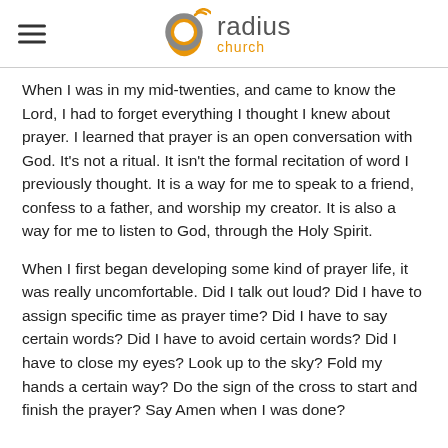radius church
When I was in my mid-twenties, and came to know the Lord, I had to forget everything I thought I knew about prayer. I learned that prayer is an open conversation with God. It's not a ritual. It isn't the formal recitation of word I previously thought. It is a way for me to speak to a friend, confess to a father, and worship my creator. It is also a way for me to listen to God, through the Holy Spirit.
When I first began developing some kind of prayer life, it was really uncomfortable. Did I talk out loud? Did I have to assign specific time as prayer time? Did I have to say certain words? Did I have to avoid certain words? Did I have to close my eyes? Look up to the sky? Fold my hands a certain way? Do the sign of the cross to start and finish the prayer? Say Amen when I was done?